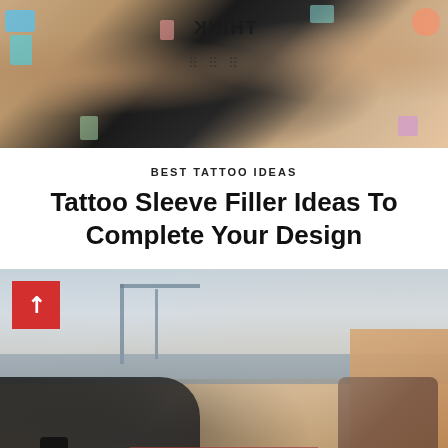[Figure (photo): Close-up photo of tattooed arms/hands with various colorful tattoos including text reading THINK (mirrored), anchor, and various other designs]
BEST TATTOO IDEAS
Tattoo Sleeve Filler Ideas To Complete Your Design
[Figure (photo): Photo of a young shirtless man with tattoo sleeve sitting in what appears to be a boat, with a harbor and cranes in the background. A red box with an arrow icon appears in the upper left corner of the image.]